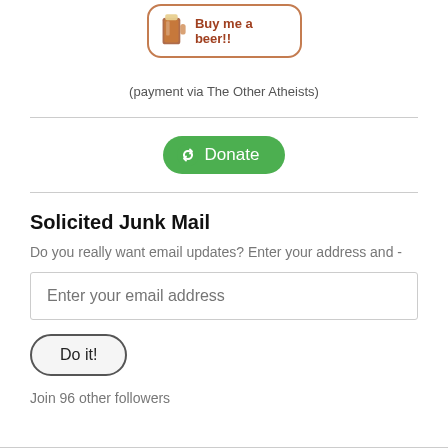[Figure (illustration): A 'Buy me a beer!!' button with a beer mug icon, rounded rectangle border in brownish color, with reddish-brown text.]
(payment via The Other Atheists)
[Figure (illustration): A green rounded 'Donate' button with a recycling/leaf icon on the left.]
Solicited Junk Mail
Do you really want email updates? Enter your address and -
Enter your email address
Do it!
Join 96 other followers